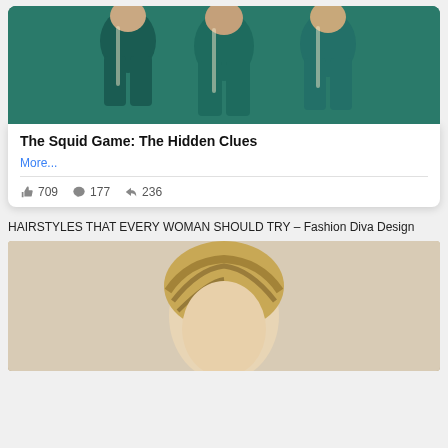[Figure (photo): Photo of people wearing green tracksuits from Squid Game]
The Squid Game: The Hidden Clues
More...
👍 709   💬 177   ➤ 236
HAIRSTYLES THAT EVERY WOMAN SHOULD TRY – Fashion Diva Design
[Figure (photo): Photo of a woman with a short blonde hairstyle]